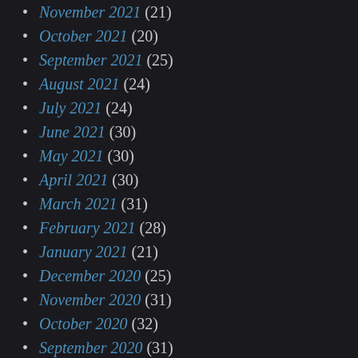November 2021 (21)
October 2021 (20)
September 2021 (25)
August 2021 (24)
July 2021 (24)
June 2021 (30)
May 2021 (30)
April 2021 (30)
March 2021 (31)
February 2021 (28)
January 2021 (21)
December 2020 (25)
November 2020 (31)
October 2020 (32)
September 2020 (31)
August 2020 (32)
July 2020 (31)